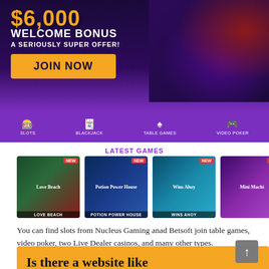[Figure (screenshot): Casino website banner with $6,000 Welcome Bonus offer, purple background with fantasy game characters, JOIN NOW button in yellow]
[Figure (screenshot): Purple navigation bar with icons for Slots, Blackjack, Table Games, Video Poker]
LATEST GAMES
[Figure (screenshot): Row of casino game thumbnails: Love Beach (NEW), Potion Power House (NEW), Wins Ahoy (NEW), Mini Machi (NEW)]
You can find slots from Nucleus Gaming anad Betsoft join table games, video poker, two Live Dealer casinos, and many other types.
[Figure (screenshot): Yellow banner section beginning with heading: Is there a website like Bovada]
[Figure (other): Scroll-to-top button (dark grey with white arrow)]